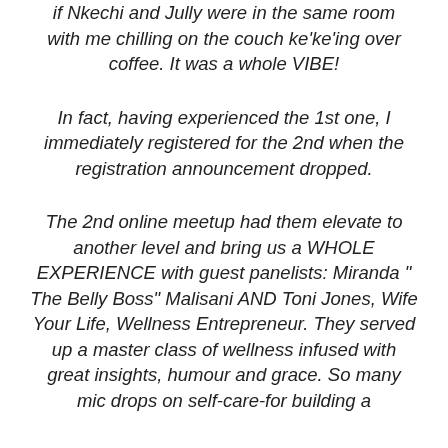if Nkechi and Jully were in the same room with me chilling on the couch ke'ke'ing over coffee. It was a whole VIBE!
In fact, having experienced the 1st one, I immediately registered for the 2nd when the registration announcement dropped.
The 2nd online meetup had them elevate to another level and bring us a WHOLE EXPERIENCE with guest panelists: Miranda "The Belly Boss" Malisani AND Toni Jones, Wife Your Life, Wellness Entrepreneur. They served up a master class of wellness infused with great insights, humour and grace. So many mic drops on self-care-for building a